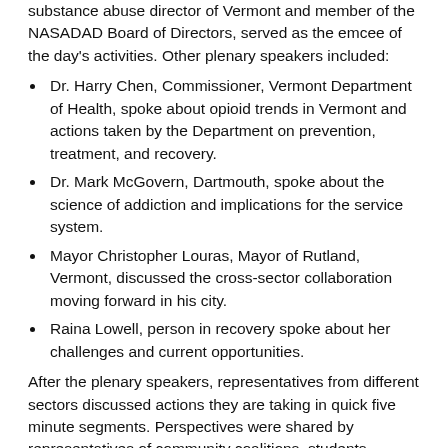substance abuse director of Vermont and member of the NASADAD Board of Directors, served as the emcee of the day's activities. Other plenary speakers included:
Dr. Harry Chen, Commissioner, Vermont Department of Health, spoke about opioid trends in Vermont and actions taken by the Department on prevention, treatment, and recovery.
Dr. Mark McGovern, Dartmouth, spoke about the science of addiction and implications for the service system.
Mayor Christopher Louras, Mayor of Rutland, Vermont, discussed the cross-sector collaboration moving forward in his city.
Raina Lowell, person in recovery spoke about her challenges and current opportunities.
After the plenary speakers, representatives from different sectors discussed actions they are taking in quick five minute segments. Perspectives were shared by representatives of community coalitions, students, mentorship groups, hospitals, groups of parents that lost a child, adolescent treatment service providers, law enforcement, housing, faith community, recovery